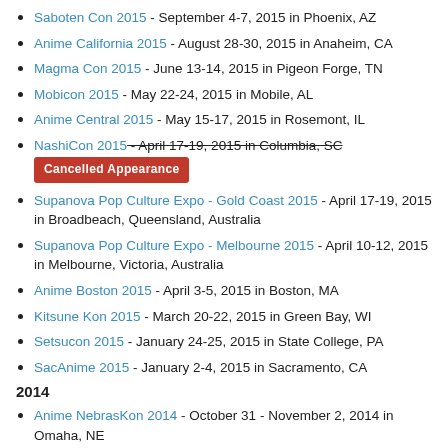Saboten Con 2015 - September 4-7, 2015 in Phoenix, AZ
Anime California 2015 - August 28-30, 2015 in Anaheim, CA
Magma Con 2015 - June 13-14, 2015 in Pigeon Forge, TN
Mobicon 2015 - May 22-24, 2015 in Mobile, AL
Anime Central 2015 - May 15-17, 2015 in Rosemont, IL
NashiCon 2015 - April 17-19, 2015 in Columbia, SC [Cancelled Appearance]
Supanova Pop Culture Expo - Gold Coast 2015 - April 17-19, 2015 in Broadbeach, Queensland, Australia
Supanova Pop Culture Expo - Melbourne 2015 - April 10-12, 2015 in Melbourne, Victoria, Australia
Anime Boston 2015 - April 3-5, 2015 in Boston, MA
Kitsune Kon 2015 - March 20-22, 2015 in Green Bay, WI
Setsucon 2015 - January 24-25, 2015 in State College, PA
SacAnime 2015 - January 2-4, 2015 in Sacramento, CA
2014
Anime NebrasKon 2014 - October 31 - November 2, 2014 in Omaha, NE
Video Gamers United 2014 - August 16-17, 2014 in Washington, DC
Metrocon 2014 - July 11-13, 2014 in Tampa, FL
Seishun-Con 2014 - June 20-22, 2014 in Atlanta, GA
AnimeNEXT 2014 - June 6-8, 2014 in Somerset, NJ
Florida Anime Experience 2014 - May 23-25, 2014 in Orlando, FL